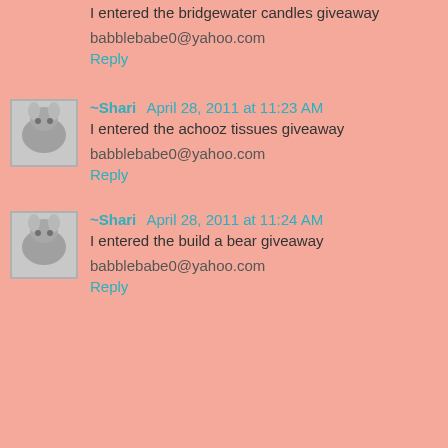I entered the bridgewater candles giveaway
babblebabe0@yahoo.com
Reply
~Shari  April 28, 2011 at 11:23 AM
I entered the achooz tissues giveaway
babblebabe0@yahoo.com
Reply
~Shari  April 28, 2011 at 11:24 AM
I entered the build a bear giveaway
babblebabe0@yahoo.com
Reply